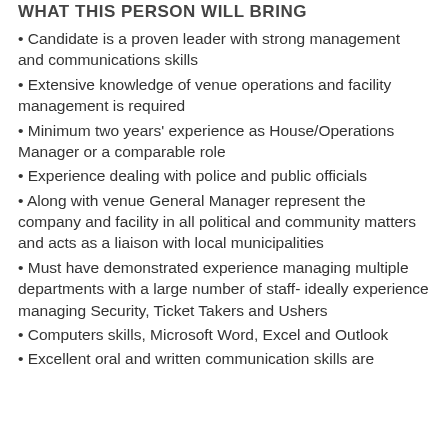WHAT THIS PERSON WILL BRING
Candidate is a proven leader with strong management and communications skills
Extensive knowledge of venue operations and facility management is required
Minimum two years' experience as House/Operations Manager or a comparable role
Experience dealing with police and public officials
Along with venue General Manager represent the company and facility in all political and community matters and acts as a liaison with local municipalities
Must have demonstrated experience managing multiple departments with a large number of staff- ideally experience managing Security, Ticket Takers and Ushers
Computers skills, Microsoft Word, Excel and Outlook
Excellent oral and written communication skills are